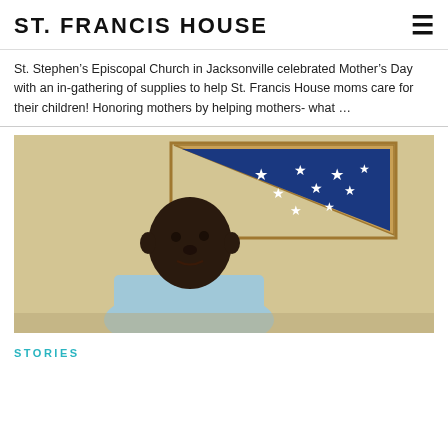ST. FRANCIS HOUSE
St. Stephen’s Episcopal Church in Jacksonville celebrated Mother’s Day with an in-gathering of supplies to help St. Francis House moms care for their children! Honoring mothers by helping mothers- what …
[Figure (photo): Portrait photo of an older man standing in front of a wall-mounted folded American flag in a wooden triangular display case. The man is wearing a light blue shirt.]
STORIES